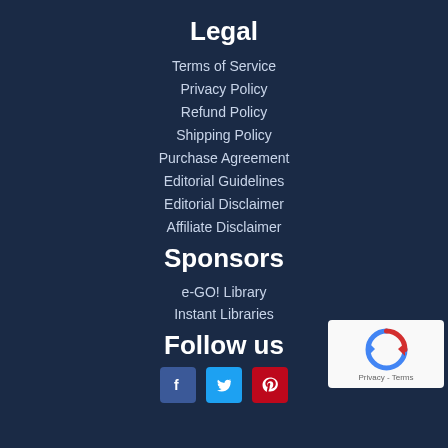Legal
Terms of Service
Privacy Policy
Refund Policy
Shipping Policy
Purchase Agreement
Editorial Guidelines
Editorial Disclaimer
Affiliate Disclaimer
Sponsors
e-GO! Library
Instant Libraries
Follow us
[Figure (other): Social media icons: Facebook, Twitter, Pinterest]